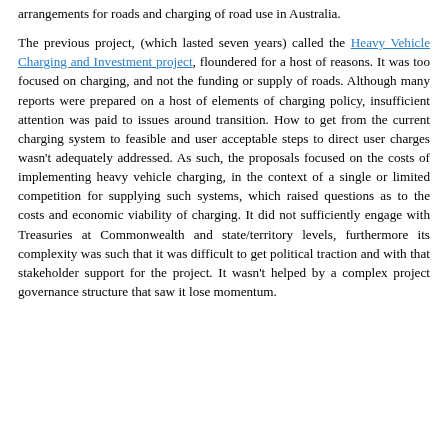arrangements for roads and charging of road use in Australia.
The previous project, (which lasted seven years) called the Heavy Vehicle Charging and Investment project, floundered for a host of reasons.  It was too focused on charging, and not the funding or supply of roads.  Although many reports were prepared on a host of elements of charging policy, insufficient attention was paid to issues around transition.  How to get from the current charging system to feasible and user acceptable steps to direct user charges wasn't adequately addressed.  As such, the proposals focused on the costs of implementing heavy vehicle charging, in the context of a single or limited competition for supplying such systems, which raised questions as to the costs and economic viability of charging. It did not sufficiently engage with Treasuries at Commonwealth and state/territory levels, furthermore its complexity was such that it was difficult to get political traction and with that stakeholder support for the project.  It wasn't helped by a complex project governance structure that saw it lose momentum.